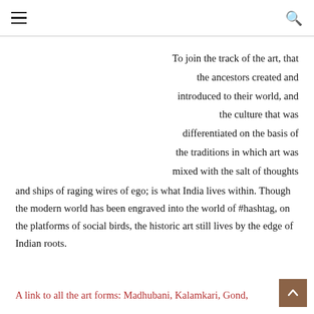≡  🔍
To join the track of the art, that the ancestors created and introduced to their world, and the culture that was differentiated on the basis of the traditions in which art was mixed with the salt of thoughts and ships of raging wires of ego; is what India lives within. Though the modern world has been engraved into the world of #hashtag, on the platforms of social birds, the historic art still lives by the edge of Indian roots.
A link to all the art forms: Madhubani, Kalamkari, Gond,